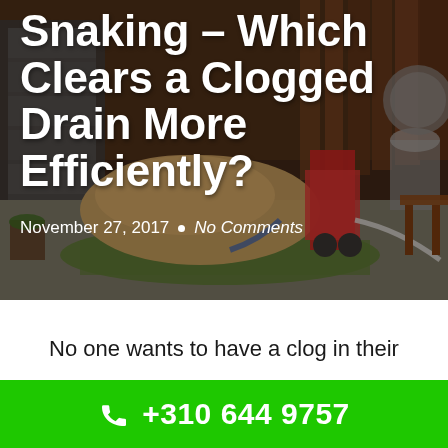[Figure (photo): Outdoor construction/plumbing work scene with a pile of sand/dirt, plumbing equipment, tools, and machinery in a backyard or work area. Dark overlay applied over the photo.]
Snaking – Which Clears a Clogged Drain More Efficiently?
November 27, 2017  •  No Comments
No one wants to have a clog in their
+310 644 9757